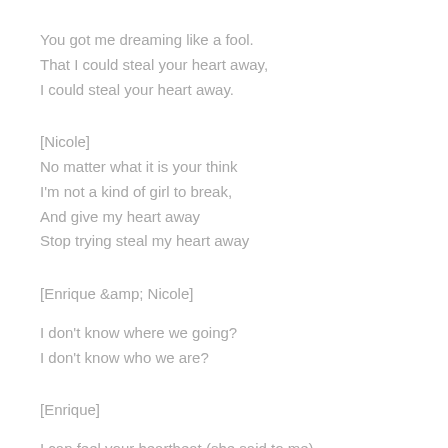You got me dreaming like a fool.
That I could steal your heart away,
I could steal your heart away.
[Nicole]
No matter what it is your think
I'm not a kind of girl to break,
And give my heart away
Stop trying steal my heart away
[Enrique &amp; Nicole]
I don't know where we going?
I don't know who we are?
[Enrique]
I can feel your heartbeat (she said to me)